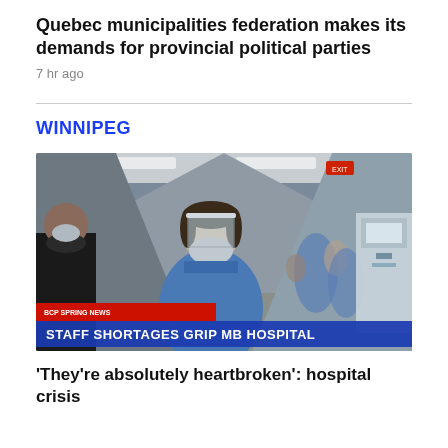Quebec municipalities federation makes its demands for provincial political parties
7 hr ago
WINNIPEG
[Figure (photo): Television news screenshot showing hospital hallway with healthcare workers wearing masks and face shields; chyron reads 'STAFF SHORTAGES GRIP MB HOSPITAL']
'They're absolutely heartbroken': hospital crisis